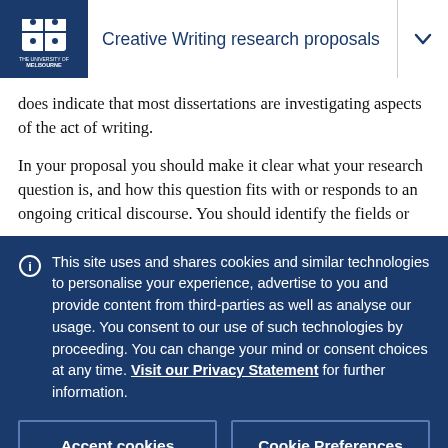Creative Writing research proposals
does indicate that most dissertations are investigating aspects of the act of writing.
In your proposal you should make it clear what your research question is, and how this question fits with or responds to an ongoing critical discourse. You should identify the fields or
This site uses and shares cookies and similar technologies to personalise your experience, advertise to you and provide content from third-parties as well as analyse our usage. You consent to our use of such technologies by proceeding. You can change your mind or consent choices at any time. Visit our Privacy Statement for further information.
Accept cookies
Cookie Preferences